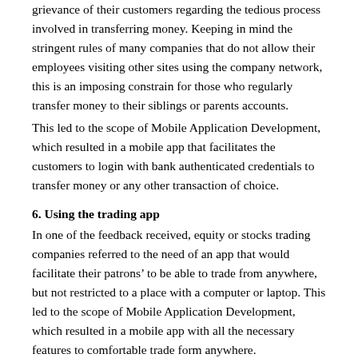grievance of their customers regarding the tedious process involved in transferring money. Keeping in mind the stringent rules of many companies that do not allow their employees visiting other sites using the company network, this is an imposing constrain for those who regularly transfer money to their siblings or parents accounts.
This led to the scope of Mobile Application Development, which resulted in a mobile app that facilitates the customers to login with bank authenticated credentials to transfer money or any other transaction of choice.
6. Using the trading app
In one of the feedback received, equity or stocks trading companies referred to the need of an app that would facilitate their patrons’ to be able to trade from anywhere, but not restricted to a place with a computer or laptop. This led to the scope of Mobile Application Development, which resulted in a mobile app with all the necessary features to comfortable trade form anywhere.
7. Buying cloths online